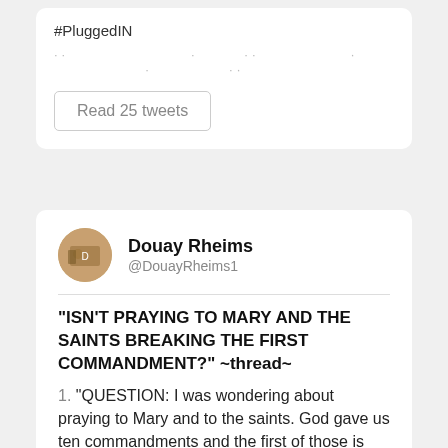#PluggedIN
... ... ... ... ... ...
[Figure (screenshot): Button reading 'Read 25 tweets']
Douay Rheims @DouayRheims1
“ISN’T PRAYING TO MARY AND THE SAINTS BREAKING THE FIRST COMMANDMENT?” ~thread~
1. “QUESTION: I was wondering about praying to Mary and to the saints. God gave us ten commandments and the first of those is ‘thou shalt not have strange gods before me.’ #TenCommandments #Bible
2. Is praying to Mary and the Saints not breaking that Commandment? ANSWER: The first Commandment as